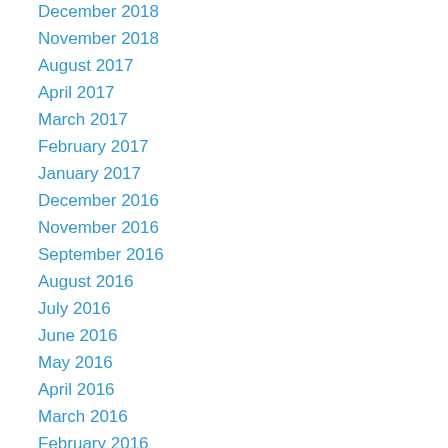December 2018
November 2018
August 2017
April 2017
March 2017
February 2017
January 2017
December 2016
November 2016
September 2016
August 2016
July 2016
June 2016
May 2016
April 2016
March 2016
February 2016
January 2016
December 2015
November 2015